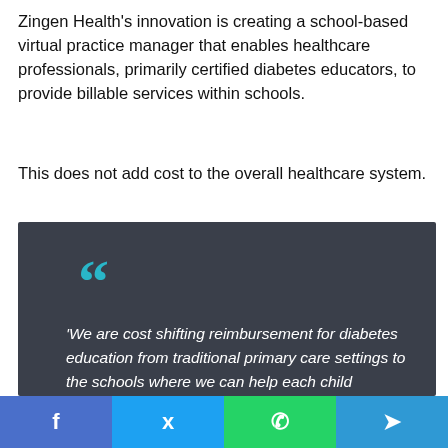Zingen Health's innovation is creating a school-based virtual practice manager that enables healthcare professionals, primarily certified diabetes educators, to provide billable services within schools.
This does not add cost to the overall healthcare system.
‘We are cost shifting reimbursement for diabetes education from traditional primary care settings to the schools where we can help each child improve their self-management. We will create a management plan
[Figure (other): Social sharing bar with Facebook, Twitter, WhatsApp, and Telegram buttons]